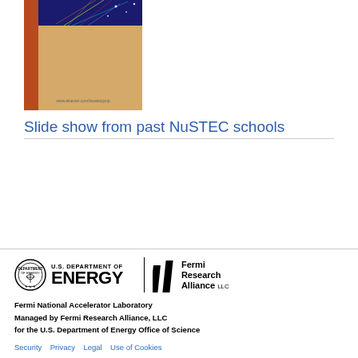[Figure (photo): Journal cover image showing a particle physics visualization with a dark blue top region with colorful particle tracks, an orange-red left column, a tan/beige main region, and a small URL text 'www.elsevier.com/locate/ppnp' at the bottom center]
Slide show from past NuSTEC schools
[Figure (logo): U.S. Department of Energy logo with shield emblem and bold ENERGY text, alongside Fermi Research Alliance LLC logo with stylized vertical bar marks]
Fermi National Accelerator Laboratory
Managed by Fermi Research Alliance, LLC
for the U.S. Department of Energy Office of Science
Security  Privacy  Legal    Use of Cookies